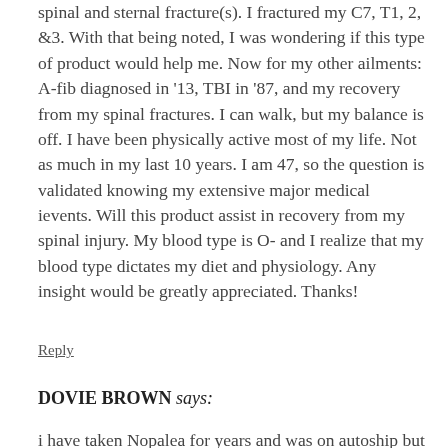spinal and sternal fracture(s). I fractured my C7, T1, 2, &3. With that being noted, I was wondering if this type of product would help me. Now for my other ailments: A-fib diagnosed in '13, TBI in '87, and my recovery from my spinal fractures. I can walk, but my balance is off. I have been physically active most of my life. Not as much in my last 10 years. I am 47, so the question is validated knowing my extensive major medical ievents. Will this product assist in recovery from my spinal injury. My blood type is O- and I realize that my blood type dictates my diet and physiology. Any insight would be greatly appreciated. Thanks!
Reply
DOVIE BROWN says:
i have taken Nopalea for years and was on autoship but